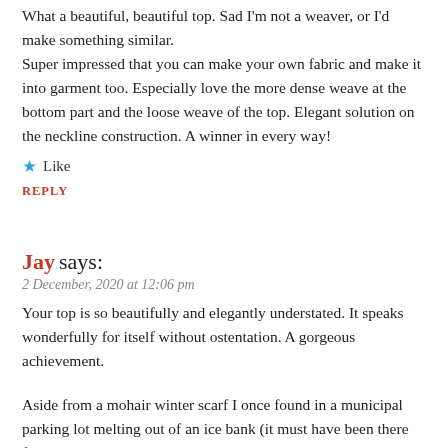What a beautiful, beautiful top. Sad I'm not a weaver, or I'd make something similar.
Super impressed that you can make your own fabric and make it into garment too. Especially love the more dense weave at the bottom part and the loose weave of the top. Elegant solution on the neckline construction. A winner in every way!
★ Like
REPLY
Jay says:
2 December, 2020 at 12:06 pm
Your top is so beautifully and elegantly understated. It speaks wonderfully for itself without ostentation. A gorgeous achievement.
Aside from a mohair winter scarf I once found in a municipal parking lot melting out of an ice bank (it must have been there for many months awaiting spring), I know nothing about